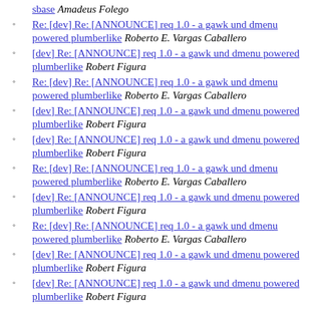sbase Amadeus Folego
Re: [dev] Re: [ANNOUNCE] req 1.0 - a gawk und dmenu powered plumberlike Roberto E. Vargas Caballero
[dev] Re: [ANNOUNCE] req 1.0 - a gawk und dmenu powered plumberlike Robert Figura
Re: [dev] Re: [ANNOUNCE] req 1.0 - a gawk und dmenu powered plumberlike Roberto E. Vargas Caballero
[dev] Re: [ANNOUNCE] req 1.0 - a gawk und dmenu powered plumberlike Robert Figura
[dev] Re: [ANNOUNCE] req 1.0 - a gawk und dmenu powered plumberlike Robert Figura
Re: [dev] Re: [ANNOUNCE] req 1.0 - a gawk und dmenu powered plumberlike Roberto E. Vargas Caballero
[dev] Re: [ANNOUNCE] req 1.0 - a gawk und dmenu powered plumberlike Robert Figura
Re: [dev] Re: [ANNOUNCE] req 1.0 - a gawk und dmenu powered plumberlike Roberto E. Vargas Caballero
[dev] Re: [ANNOUNCE] req 1.0 - a gawk und dmenu powered plumberlike Robert Figura
[dev] Re: [ANNOUNCE] req 1.0 - a gawk und dmenu powered plumberlike Robert Figura